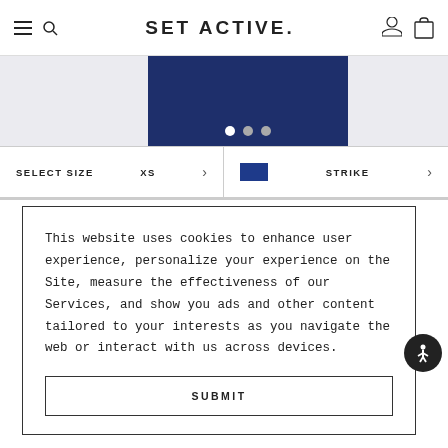SET ACTIVE.
[Figure (screenshot): Product image area showing navy/dark blue activewear with dot navigation indicators (white, gray, gray)]
SELECT SIZE   XS   >   [color swatch]   STRIKE   >
This website uses cookies to enhance user experience, personalize your experience on the Site, measure the effectiveness of our Services, and show you ads and other content tailored to your interests as you navigate the web or interact with us across devices.
SUBMIT